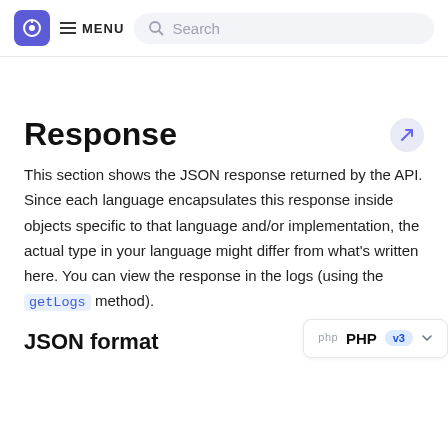MENU  Search
Response
This section shows the JSON response returned by the API. Since each language encapsulates this response inside objects specific to that language and/or implementation, the actual type in your language might differ from what's written here. You can view the response in the logs (using the getLogs method).
JSON format